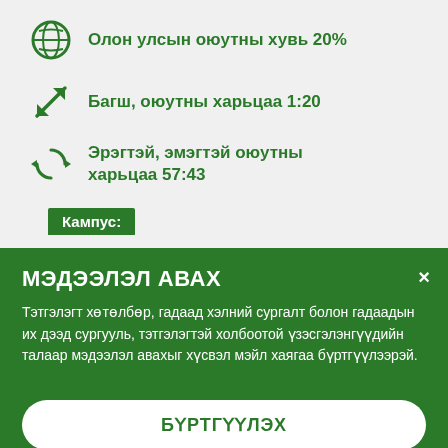Олон улсын оюутны хувь 20%
Багш, оюутны харьцаа 1:20
Эрэгтэй, эмэгтэй оюутны харьцаа 57:43
Кампус:
МЭДЭЭЛЭЛ АВАХ
Тэтгэлэгт хөтөлбөр, гадаад хэлний сургалт болон гадаадын их дээд сургууль, тэтгэлэгтэй холбоотой үзэсгэлэнгүүдийн талаар мэдээлэл авахыг хүсвэл мэйл хаягаа бүртгүүлээрэй.
БҮРТГҮҮЛЭХ